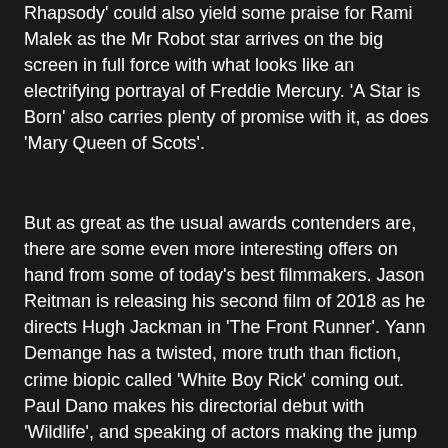Rhapsody' could also yield some praise for Rami Malek as the Mr Robot star arrives on the big screen in full force with what looks like an electrifying portrayal of Freddie Mercury. 'A Star is Born' also carries plenty of promise with it, as does 'Mary Queen of Scots'.
But as great as the usual awards contenders are, there are some even more interesting offers on hand from some of today's best filmmakers. Jason Reitman is releasing his second film of 2018 as he directs Hugh Jackman in 'The Front Runner'. Yann Demange has a twisted, more truth than fiction, crime biopic called 'White Boy Rick' coming out. Paul Dano makes his directorial debut with 'Wildlife', and speaking of actors making the jump to directing we also have to look out for Jonah Hill's 'Mid90s'. Mike Leigh has 'Peterloo', Jeremy Saulnier has 'Hold the Dark' and Adam McKay has 'Backseat'. Plus there's also 'Destroyer', 'On the Basis of Sex', 'Cold War', 'Shoplifters', 'Under Silver Lake'... yeah basically a lot of great stuff that I'm excited for. That's what I'm saying.